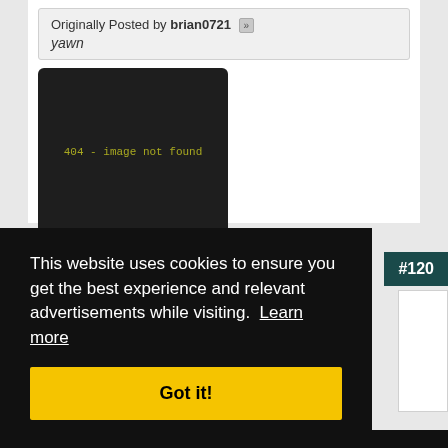Originally Posted by brian0721
yawn
[Figure (screenshot): Dark image placeholder showing '404 - image not found' in yellow-green monospace text on a near-black background]
This website uses cookies to ensure you get the best experience and relevant advertisements while visiting. Learn more
Got it!
#120